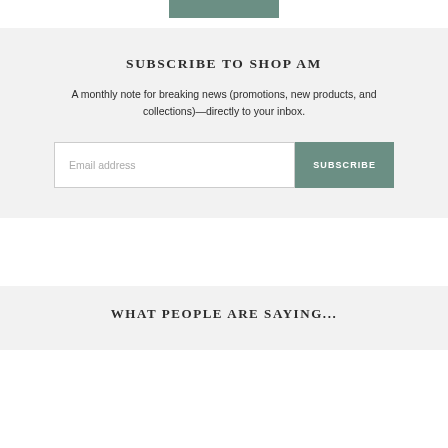[Figure (other): Partial view of a button/bar element at top of page (teal/green colored rectangle)]
SUBSCRIBE TO SHOP AM
A monthly note for breaking news (promotions, new products, and collections)—directly to your inbox.
[Figure (other): Email subscription form with text input labeled 'Email address' and a teal SUBSCRIBE button]
WHAT PEOPLE ARE SAYING...